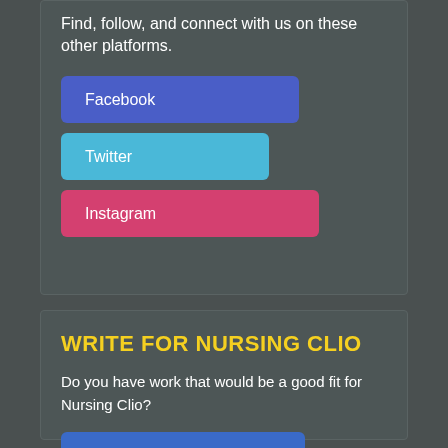Find, follow, and connect with us on these other platforms.
Facebook
Twitter
Instagram
WRITE FOR NURSING CLIO
Do you have work that would be a good fit for Nursing Clio?
Write for Us